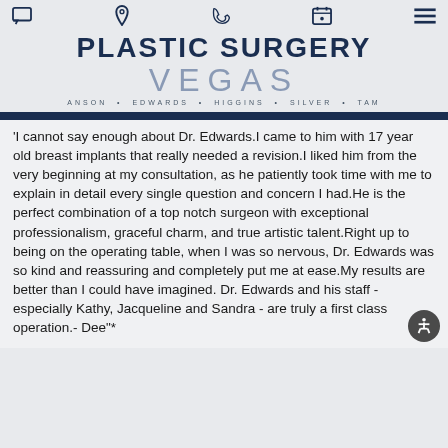Plastic Surgery Vegas — ANSON · EDWARDS · HIGGINS · SILVER · TAM
'I cannot say enough about Dr. Edwards.I came to him with 17 year old breast implants that really needed a revision.I liked him from the very beginning at my consultation, as he patiently took time with me to explain in detail every single question and concern I had.He is the perfect combination of a top notch surgeon with exceptional professionalism, graceful charm, and true artistic talent.Right up to being on the operating table, when I was so nervous, Dr. Edwards was so kind and reassuring and completely put me at ease.My results are better than I could have imagined. Dr. Edwards and his staff - especially Kathy, Jacqueline and Sandra - are truly a first class operation.- Dee"*